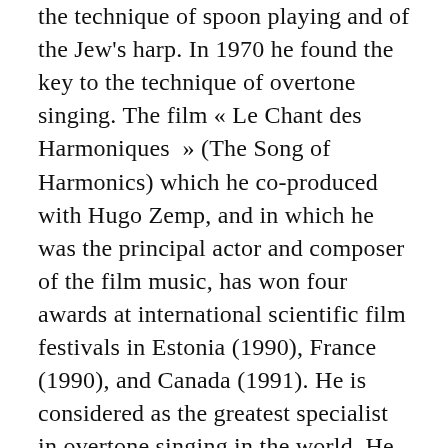the technique of spoon playing and of the Jew's harp. In 1970 he found the key to the technique of overtone singing. The film « Le Chant des Harmoniques » (The Song of Harmonics) which he co-produced with Hugo Zemp, and in which he was the principal actor and composer of the film music, has won four awards at international scientific film festivals in Estonia (1990), France (1990), and Canada (1991). He is considered as the greatest specialist in overtone singing in the world. He has written numerous articles on Vietnamese and Asian music (New Grove Dictionary of Music and Musicians, New Grove Dictionary of Musical Instruments, Algemeine Muziekencyclopedie, Encyclopaedia Universalis). He has also recorded 15 LPs and 2 CDs (one of which obtained the Grand Prix de l'Academie de Disques Charles Cros in ...). He has...